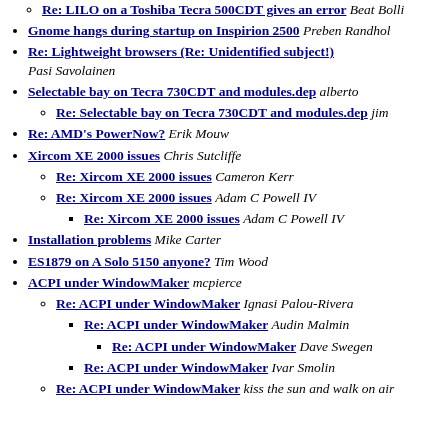Re: LILO on a Toshiba Tecra 500CDT gives an error Beat Bolli
Gnome hangs during startup on Inspirion 2500 Preben Randhol
Re: Lightweight browsers (Re: Unidentified subject!) Pasi Savolainen
Selectable bay on Tecra 730CDT and modules.dep alberto
Re: Selectable bay on Tecra 730CDT and modules.dep jim
Re: AMD's PowerNow? Erik Mouw
Xircom XE 2000 issues Chris Sutcliffe
Re: Xircom XE 2000 issues Cameron Kerr
Re: Xircom XE 2000 issues Adam C Powell IV
Re: Xircom XE 2000 issues Adam C Powell IV
Installation problems Mike Carter
ES1879 on A Solo 5150 anyone? Tim Wood
ACPI under WindowMaker mcpierce
Re: ACPI under WindowMaker Ignasi Palou-Rivera
Re: ACPI under WindowMaker Audin Malmin
Re: ACPI under WindowMaker Dave Swegen
Re: ACPI under WindowMaker Ivar Smolin
Re: ACPI under WindowMaker kiss the sun and walk on air